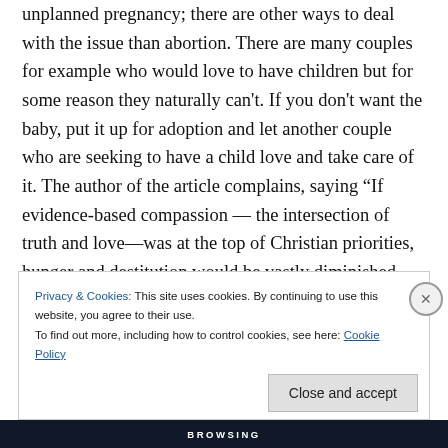unplanned pregnancy; there are other ways to deal with the issue than abortion. There are many couples for example who would love to have children but for some reason they naturally can't. If you don't want the baby, put it up for adoption and let another couple who are seeking to have a child love and take care of it. The author of the article complains, saying “If evidence-based compassion — the intersection of truth and love—was at the top of Christian priorities, hunger and destitution would be vastly diminished because millions of mothers would be able to plan and prepare for their babies.” Look, there’s a simpler
Privacy & Cookies: This site uses cookies. By continuing to use this website, you agree to their use.
To find out more, including how to control cookies, see here: Cookie Policy
Close and accept